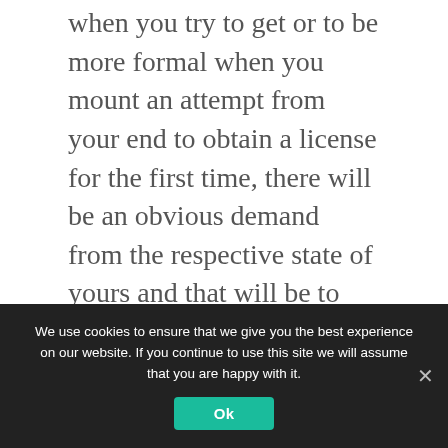when you try to get or to be more formal when you mount an attempt from your end to obtain a license for the first time, there will be an obvious demand from the respective state of yours and that will be to undergo a pivotal process of insurance.
And things don't stop here as even with your attempts directed towards the restoration of your drivers' license in the possible aftermath of the annoying yet unfortunate and bitter occurrence of the suspension of your beloved
We use cookies to ensure that we give you the best experience on our website. If you continue to use this site we will assume that you are happy with it.